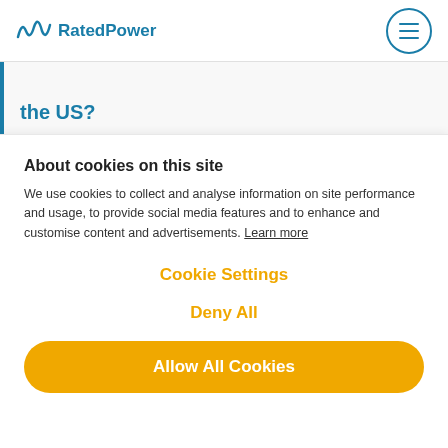RatedPower
the US?
About cookies on this site
We use cookies to collect and analyse information on site performance and usage, to provide social media features and to enhance and customise content and advertisements. Learn more
Cookie Settings
Deny All
Allow All Cookies